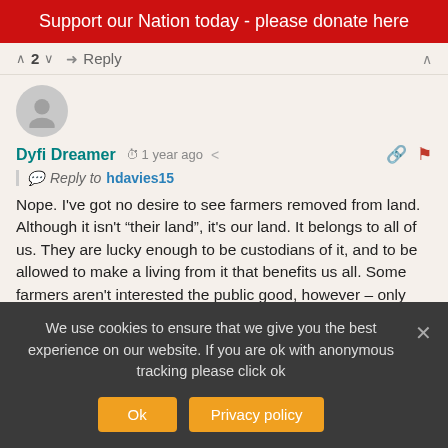Support our Nation today - please donate here
^ 2 v  Reply  ^
Dyfi Dreamer  1 year ago  Reply to hdavies15  Nope. I've got no desire to see farmers removed from land. Although it isn't "their land", it's our land. It belongs to all of us. They are lucky enough to be custodians of it, and to be allowed to make a living from it that benefits us all. Some farmers aren't interested the public good, however – only their wallets.
We use cookies to ensure that we give you the best experience on our website. If you are ok with anonymous tracking please click ok
Ok  Privacy policy